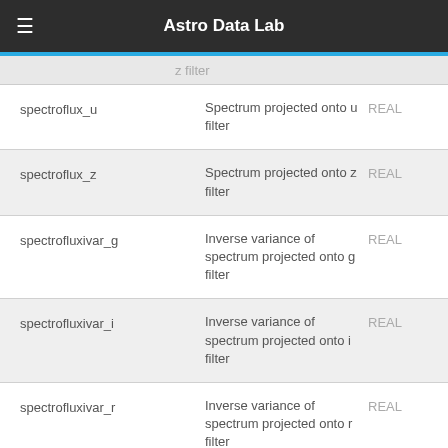Astro Data Lab
z filter
| Name | Description | Type |
| --- | --- | --- |
| spectroflux_u | Spectrum projected onto u filter | REAL |
| spectroflux_z | Spectrum projected onto z filter | REAL |
| spectrofluxivar_g | Inverse variance of spectrum projected onto g filter | REAL |
| spectrofluxivar_i | Inverse variance of spectrum projected onto i filter | REAL |
| spectrofluxivar_r | Inverse variance of spectrum projected onto r filter | REAL |
| spectrofluxivar_u | Inverse variance of spectrum projected onto | REAL |